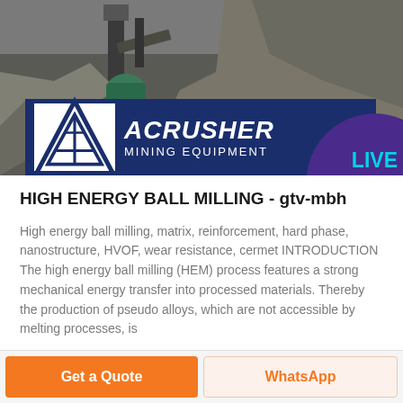[Figure (photo): Mining equipment/crusher site photo with rock crushing machinery and rocky terrain. ACRUSHER Mining Equipment logo overlay at bottom of image. Live Chat speech bubble in top right corner.]
HIGH ENERGY BALL MILLING - gtv-mbh
High energy ball milling, matrix, reinforcement, hard phase, nanostructure, HVOF, wear resistance, cermet INTRODUCTION The high energy ball milling (HEM) process features a strong mechanical energy transfer into processed materials. Thereby the production of pseudo alloys, which are not accessible by melting processes, is
Get a Quote   WhatsApp